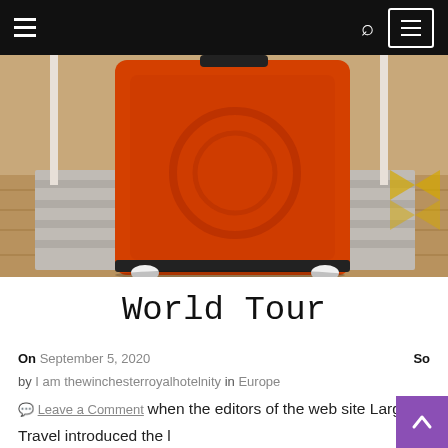Navigation bar with hamburger menu, search icon, and menu button
[Figure (photo): Orange hard-shell suitcase standing upright on a patterned rug with wooden floor in background]
World Tour
On September 5, 2020  So
by I am thewinchesterroyalhotelnity   in Europe
💬 Leave a Comment  when the editors of the web site Large 7 Travel introduced the list of the world's prime 50 bucket list destinations, we stopped in our tracks and began